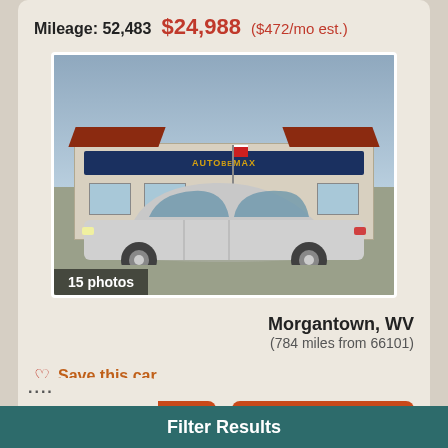Mileage: 52,483  $24,988 ($472/mo est.)
[Figure (photo): Photo of a silver Nissan Rogue SUV parked in front of AutobeMax dealership. Photo count label reads '15 photos'.]
Morgantown, WV
(784 miles from 66101)
Save this car
Call
Email
Filter Results